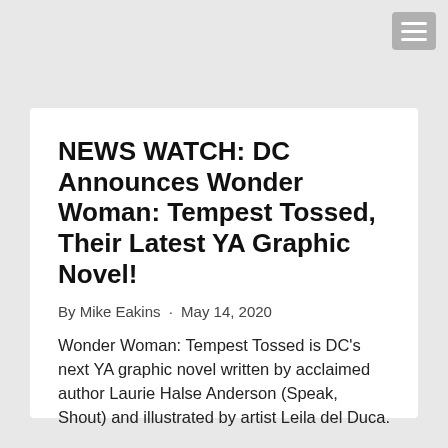NEWS WATCH: DC Announces Wonder Woman: Tempest Tossed, Their Latest YA Graphic Novel!
By Mike Eakins · May 14, 2020
Wonder Woman: Tempest Tossed is DC's next YA graphic novel written by acclaimed author Laurie Halse Anderson (Speak, Shout) and illustrated by artist Leila del Duca.
Details ▶